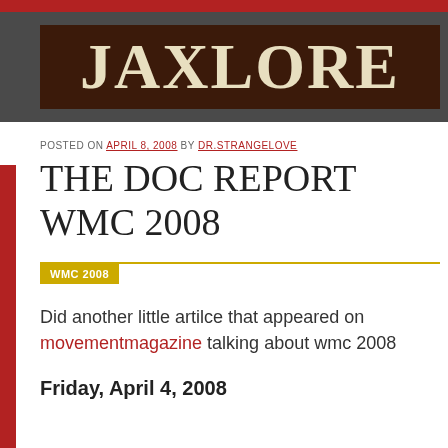JAXLORE
POSTED ON APRIL 8, 2008 BY DR.STRANGELOVE
THE DOC REPORT WMC 2008
WMC 2008
Did another little artilce that appeared on movementmagazine talking about wmc 2008
Friday, April 4, 2008